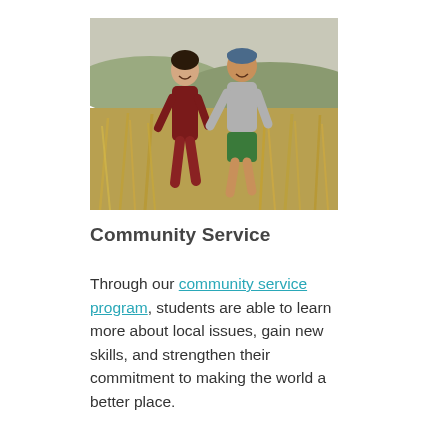[Figure (photo): Two young people (students) smiling and walking through a field of tall dry golden grass. One person is wearing a dark red/maroon outfit, the other is wearing a gray sweatshirt and green shorts.]
Community Service
Through our community service program, students are able to learn more about local issues, gain new skills, and strengthen their commitment to making the world a better place.